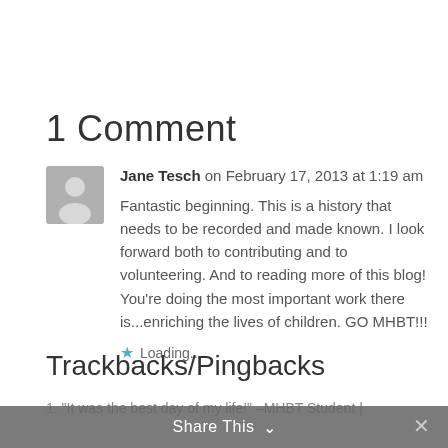1 Comment
Jane Tesch on February 17, 2013 at 1:19 am
Fantastic beginning. This is a history that needs to be recorded and made known. I look forward both to contributing and to volunteering. And to reading more of this blog! You're doing the most important work there is...enriching the lives of children. GO MHBT!!!
Loading...
Trackbacks/Pingbacks
1. "It was the best day of my life!" –MHBT Student |
Share This